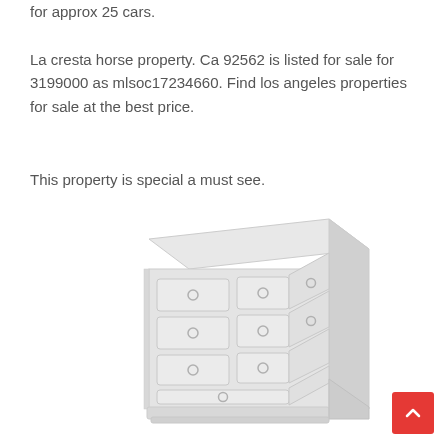for approx 25 cars.
La cresta horse property. Ca 92562 is listed for sale for 3199000 as mlsoc17234660. Find los angeles properties for sale at the best price.
This property is special a must see.
[Figure (illustration): A white/light grey illustrated chest of drawers (dresser) with multiple drawers and round knobs, shown in a light grey isometric/perspective illustration style.]